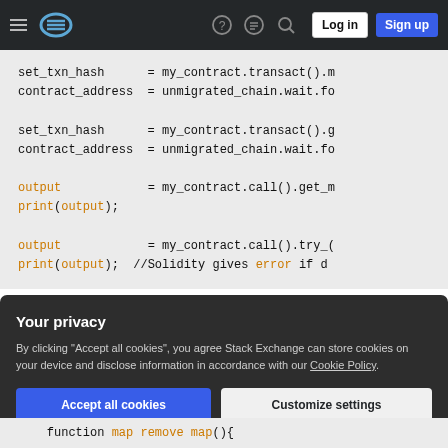Stack Exchange navigation bar with hamburger menu, logo, help, chat, search icons, Log in and Sign up buttons
set_txn_hash      = my_contract.transact().m
contract_address  = unmigrated_chain.wait.fo

set_txn_hash      = my_contract.transact().g
contract_address  = unmigrated_chain.wait.fo

output            = my_contract.call().get_m
print(output);

output            = my_contract.call().try_(
print(output); //Solidity gives error if d
Additional functions inside my Contract:
Your privacy
By clicking "Accept all cookies", you agree Stack Exchange can store cookies on your device and disclose information in accordance with our Cookie Policy.
Accept all cookies   Customize settings
function map remove map(){